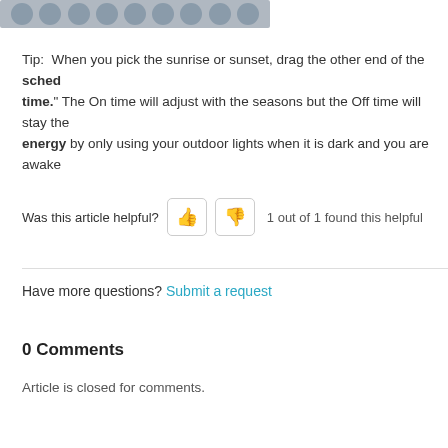[Figure (illustration): A row of overlapping grey circles forming a decorative strip at the top of the page]
Tip:  When you pick the sunrise or sunset, drag the other end of the sched time." The On time will adjust with the seasons but the Off time will stay the energy by only using your outdoor lights when it is dark and you are awake
Was this article helpful?  1 out of 1 found this helpful
Have more questions? Submit a request
0 Comments
Article is closed for comments.